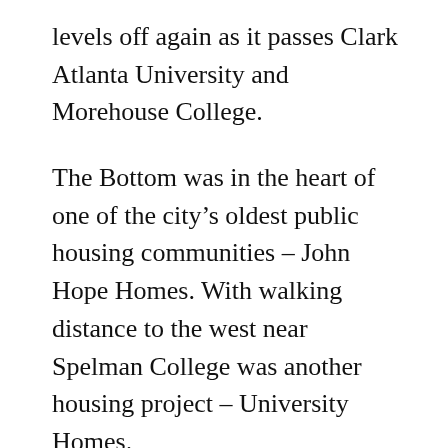levels off again as it passes Clark Atlanta University and Morehouse College.
The Bottom was in the heart of one of the city’s oldest public housing communities – John Hope Homes. With walking distance to the west near Spelman College was another housing project – University Homes.
Fenced in green lots now occupy the space with John Hope Homes once sat. They were torn down in the 1990s as part of the Atlanta Housing Authority’s massive plan to re-invent public housing. University Homes was torn